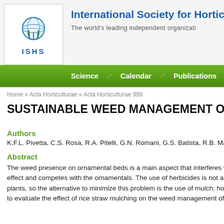[Figure (logo): ISHS globe and plant logo with 'ISHS' text below]
International Society for Horticultu
The world's leading independent organizati
Science / Calendar / Publications / Membersh
Home » Acta Horticulturae » Acta Horticulturae 999
SUSTAINABLE WEED MANAGEMENT ON
Authors
K.F.L. Pivetta, C.S. Rosa, R.A. Pitelli, G.N. Romani, G.S. Batista, R.B. Ma
Abstract
The weed presence on ornamental beds is a main aspect that interferes with effect and competes with the ornamentals. The use of herbicides is not alwa plants, so the alternative to minimize this problem is the use of mulch; howe to evaluate the effect of rice straw mulching on the weed management of Sa